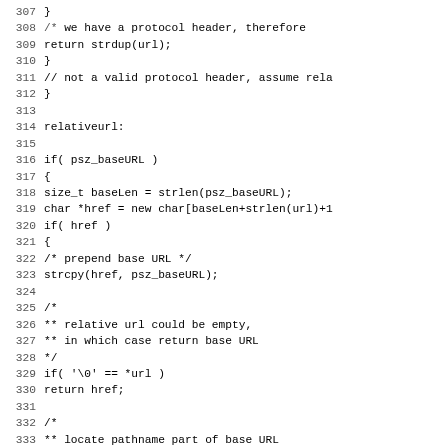Source code listing lines 307-339, showing C/C++ URL handling function with relativeurl label and logic for prepending base URL and locating pathname parts.